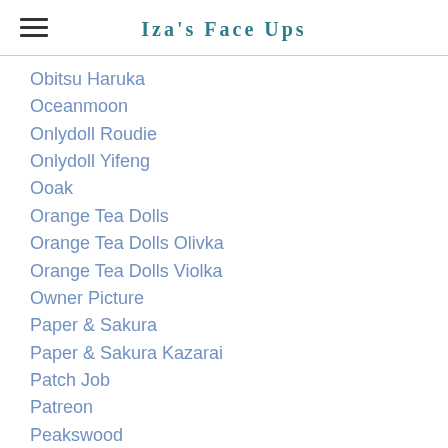Iza's Face Ups
Obitsu Haruka
Oceanmoon
Onlydoll Roudie
Onlydoll Yifeng
Ooak
Orange Tea Dolls
Orange Tea Dolls Olivka
Orange Tea Dolls Violka
Owner Picture
Paper & Sakura
Paper & Sakura Kazarai
Patch Job
Patreon
Peakswood
Peakswood Romantic Lady Bee
Peakswoods Rabbit Goon
Pedicure
[Figure (other): Back to top button — teal circle with upward chevron arrow]